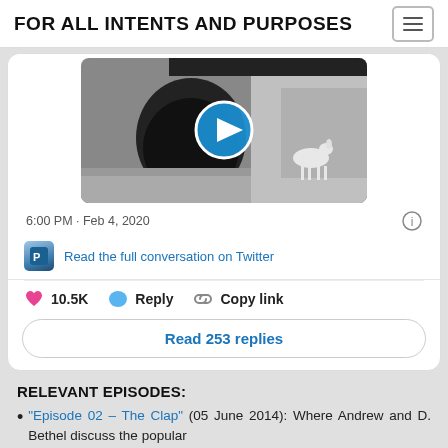FOR ALL INTENTS AND PURPOSES
[Figure (screenshot): Video thumbnail showing a deer near a tunnel culvert, black and white trail camera footage, with a blue play button circle overlay.]
6:00 PM · Feb 4, 2020
Read the full conversation on Twitter
10.5K   Reply   Copy link
Read 253 replies
RELEVANT EPISODES:
"Episode 02 – The Clap" (05 June 2014): Where Andrew and D. Bethel discuss the popular